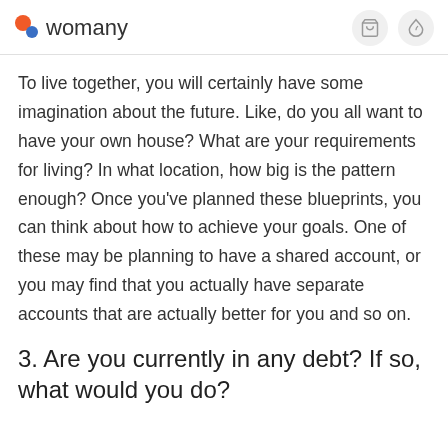womany
To live together, you will certainly have some imagination about the future. Like, do you all want to have your own house? What are your requirements for living? In what location, how big is the pattern enough? Once you've planned these blueprints, you can think about how to achieve your goals. One of these may be planning to have a shared account, or you may find that you actually have separate accounts that are actually better for you and so on.
3. Are you currently in any debt? If so, what would you do?